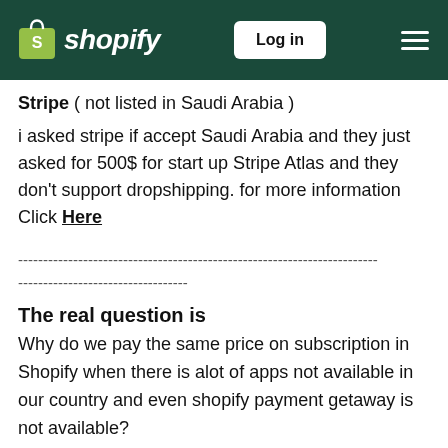Shopify — Log in
Stripe ( not listed in Saudi Arabia )
i asked stripe if accept Saudi Arabia and they just asked for 500$ for start up Stripe Atlas and they don't support dropshipping. for more information Click Here
------------------------------------------------------------------------
----------------------------------
The real question is
Why do we pay the same price on subscription in Shopify when there is alot of apps not available in our country and even shopify payment getaway is not available?